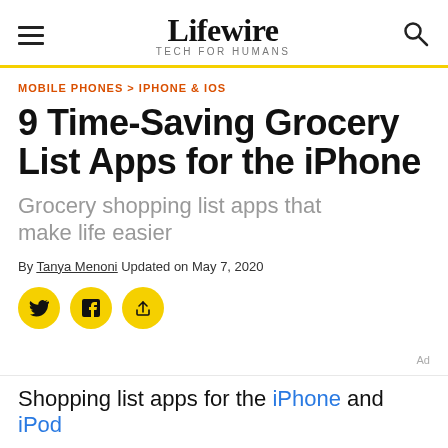Lifewire — TECH FOR HUMANS
MOBILE PHONES > IPHONE & IOS
9 Time-Saving Grocery List Apps for the iPhone
Grocery shopping list apps that make life easier
By Tanya Menoni Updated on May 7, 2020
[Figure (infographic): Social sharing buttons: Twitter, Facebook, and share/send icons on yellow circular backgrounds]
Shopping list apps for the iPhone and iPod